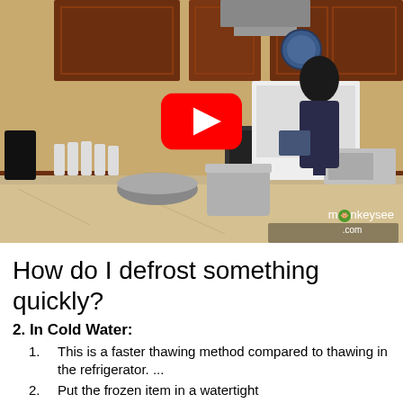[Figure (screenshot): Video thumbnail showing a kitchen scene with a person standing at a counter near a stove, with a YouTube play button overlay. The monkeysee.com watermark is visible in the bottom right.]
How do I defrost something quickly?
2. In Cold Water:
This is a faster thawing method compared to thawing in the refrigerator. ...
Put the frozen item in a watertight